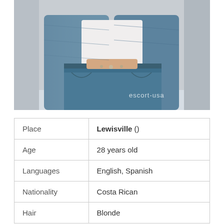[Figure (photo): Cropped photo of a person wearing a white crop top and denim jacket with jeans, showing the midsection. Watermark text 'escort-usa' visible on the image.]
| Place | Lewisville () |
| Age | 28 years old |
| Languages | English, Spanish |
| Nationality | Costa Rican |
| Hair | Blonde |